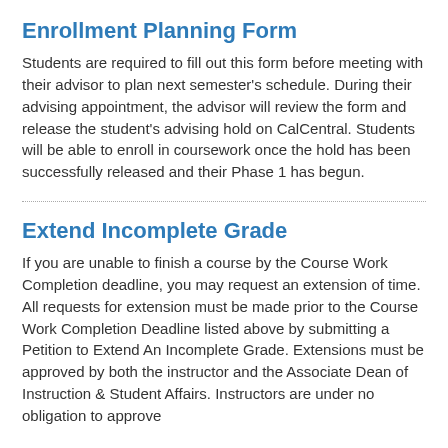Enrollment Planning Form
Students are required to fill out this form before meeting with their advisor to plan next semester's schedule. During their advising appointment, the advisor will review the form and release the student's advising hold on CalCentral. Students will be able to enroll in coursework once the hold has been successfully released and their Phase 1 has begun.
Extend Incomplete Grade
If you are unable to finish a course by the Course Work Completion deadline, you may request an extension of time.  All requests for extension must be made prior to the Course Work Completion Deadline listed above by submitting a Petition to Extend An Incomplete Grade.  Extensions must be approved by both the instructor and the Associate Dean of Instruction & Student Affairs.  Instructors are under no obligation to approve extensions beyond the stated deadline.